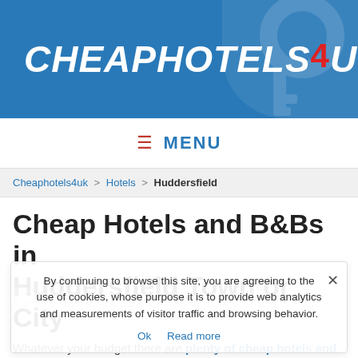[Figure (logo): CheapHotels4UK logo — white bold italic text on blue banner background with red '4' and key watermark]
≡ MENU
Cheaphotels4uk > Hotels > Huddersfield
Cheap Hotels and B&Bs in Huddersfield Town or City
By continuing to browse this site, you are agreeing to the use of cookies, whose purpose it is to provide web analytics and measurements of visitor traffic and browsing behavior.
Ok  Read more
Whatever your budget there are plenty of cheap hotels and bed and breakfast places to choose from. Enjoy a one night stay, a long weekend or a mid-week break